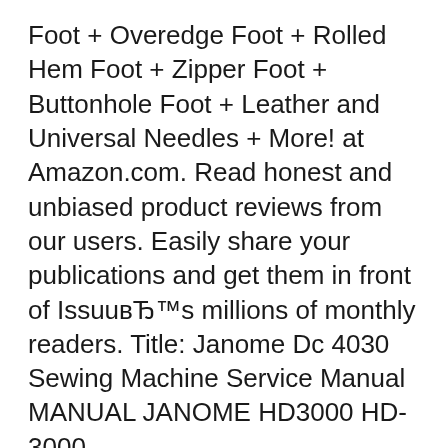Foot + Overedge Foot + Rolled Hem Foot + Zipper Foot + Buttonhole Foot + Leather and Universal Needles + More! at Amazon.com. Read honest and unbiased product reviews from our users. Easily share your publications and get them in front of IssuuвЂ™s millions of monthly readers. Title: Janome Dc 4030 Sewing Machine Service Manual MANUAL JANOME HD3000 HD-3000
Find helpful customer reviews and review ratings for Janome HD3000 Heavy-Duty Sewing Machine with 18 Built-In Stitches + Hard Case at Amazon.com. Read вЂ¦ JANOME - HD3000 (Service Manual) Service